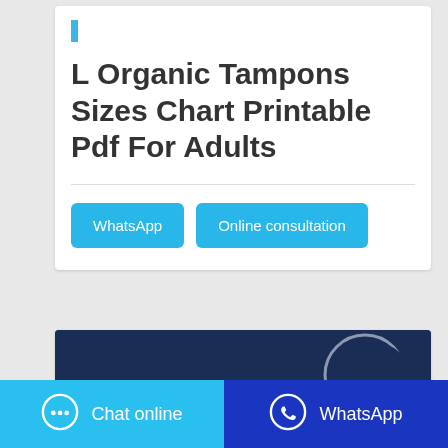L Organic Tampons Sizes Chart Printable Pdf For Adults
WhatsApp
Online consultation
[Figure (photo): Dark blue/navy background image, partially visible at bottom of page]
Chat online
WhatsApp